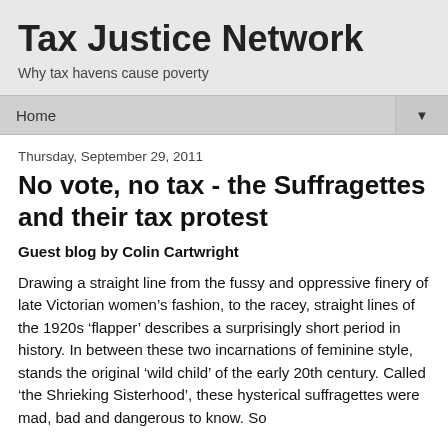Tax Justice Network
Why tax havens cause poverty
Home ▼
Thursday, September 29, 2011
No vote, no tax - the Suffragettes and their tax protest
Guest blog by Colin Cartwright
Drawing a straight line from the fussy and oppressive finery of late Victorian women’s fashion, to the racey, straight lines of the 1920s ‘flapper’ describes a surprisingly short period in history. In between these two incarnations of feminine style, stands the original ‘wild child’ of the early 20th century. Called ‘the Shrieking Sisterhood’, these hysterical suffragettes were mad, bad and dangerous to know. So